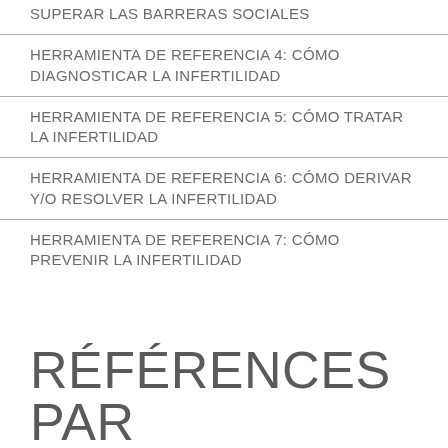SUPERAR LAS BARRERAS SOCIALES
HERRAMIENTA DE REFERENCIA 4: CÓMO DIAGNOSTICAR LA INFERTILIDAD
HERRAMIENTA DE REFERENCIA 5: CÓMO TRATAR LA INFERTILIDAD
HERRAMIENTA DE REFERENCIA 6: CÓMO DERIVAR Y/O RESOLVER LA INFERTILIDAD
HERRAMIENTA DE REFERENCIA 7: CÓMO PREVENIR LA INFERTILIDAD
RÉFÉRENCES PAR